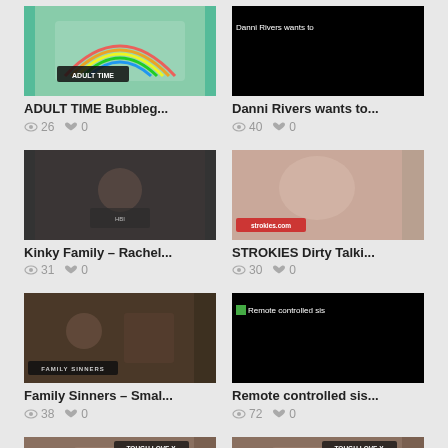[Figure (screenshot): ADULT TIME Bubbleg... thumbnail with rainbow logo]
ADULT TIME Bubbleg...
👁 26  ♥ 0
[Figure (screenshot): Danni Rivers wants to... black thumbnail with text overlay]
Danni Rivers wants to...
👁 40  ♥ 0
[Figure (screenshot): Kinky Family – Rachel... thumbnail]
Kinky Family – Rachel...
👁 31  ♥ 0
[Figure (screenshot): STROKIES Dirty Talki... thumbnail]
STROKIES Dirty Talki...
👁 30  ♥ 0
[Figure (screenshot): Family Sinners – Smal... thumbnail]
Family Sinners – Smal...
👁 38  ♥ 0
[Figure (screenshot): Remote controlled sis... black thumbnail with text overlay]
Remote controlled sis...
👁 72  ♥ 0
[Figure (screenshot): TOUGH LOVE X thumbnail bottom left]
[Figure (screenshot): TOUGH LOVE X thumbnail bottom right]